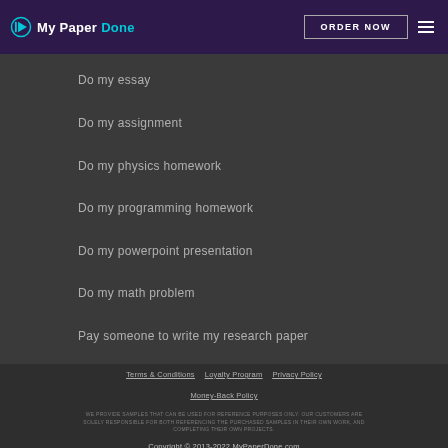MyPaper Done | ORDER NOW
Do my essay
Do my assignment
Do my physics homework
Do my programming homework
Do my powerpoint presentation
Do my math problem
Pay someone to write my research paper
Terms & Conditions   Loyalty Program   Privacy Policy   Money-Back Policy
WE PROVIDE SAMPLES THAT CAN BE USED FOR REFERENCE PURPOSES ONLY. OUR CUSTOMERS ARE SOLELY RESPONSIBLE FOR BOTH REFERENCING THE PURCHASED SAMPLES IN THEIR OWN WORK, AND COMPLETING THEIR OWN PROJECTS.
Copyright © 2013-2022 MyPaperDone.com